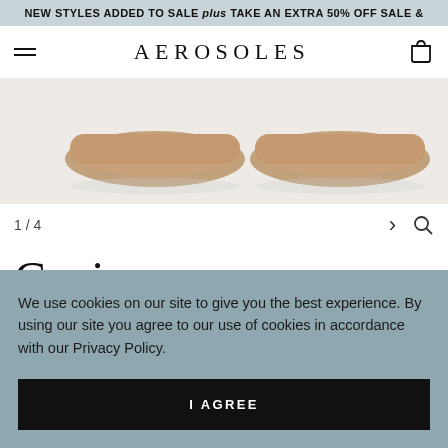NEW STYLES ADDED TO SALE plus TAKE AN EXTRA 50% OFF SALE &
AEROSOLES
[Figure (photo): Product photo showing tan/camel colored flat shoes (mules/slides) from above, on a light gray background. Partial view cropped at top.]
1 / 4
Canie
We use cookies on our site to give you the best experience. By using our site you agree to our use of cookies in accordance with our Privacy Policy.
I AGREE